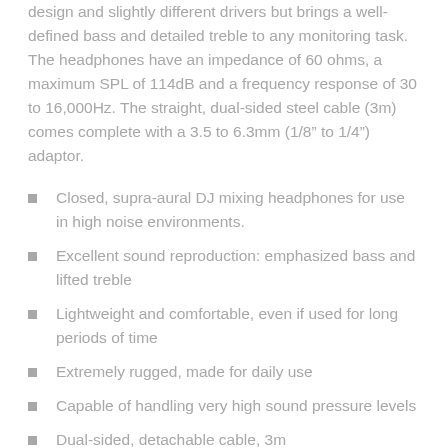design and slightly different drivers but brings a well-defined bass and detailed treble to any monitoring task. The headphones have an impedance of 60 ohms, a maximum SPL of 114dB and a frequency response of 30 to 16,000Hz. The straight, dual-sided steel cable (3m) comes complete with a 3.5 to 6.3mm (1/8" to 1/4") adaptor.
Closed, supra-aural DJ mixing headphones for use in high noise environments.
Excellent sound reproduction: emphasized bass and lifted treble
Lightweight and comfortable, even if used for long periods of time
Extremely rugged, made for daily use
Capable of handling very high sound pressure levels
Dual-sided, detachable cable, 3m